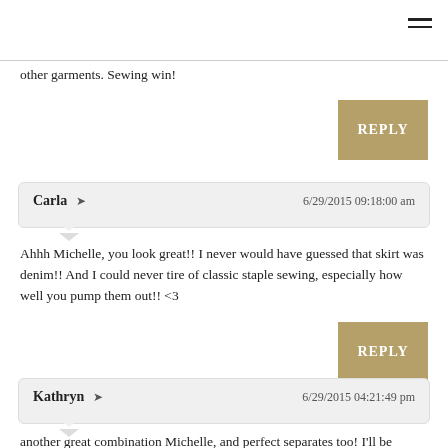other garments. Sewing win!
REPLY
Carla  6/29/2015 09:18:00 am
Ahhh Michelle, you look great!! I never would have guessed that skirt was denim!! And I could never tire of classic staple sewing, especially how well you pump them out!! <3
REPLY
Kathryn  6/29/2015 04:21:49 pm
another great combination Michelle, and perfect separates too! I'll be checking back your archer posts